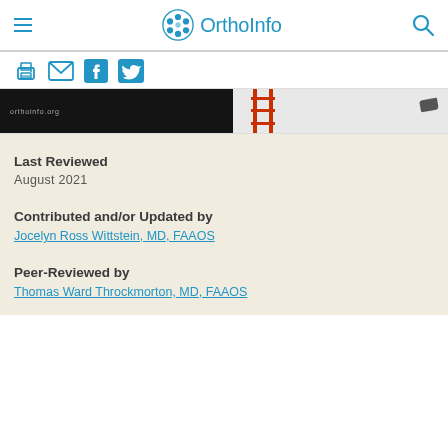OrthoInfo
[Figure (screenshot): OrthoInfo website banner showing two images: left side with dark background and orthoinfo.org text, right side with a red ladder against a light wall]
Last Reviewed
August 2021
Contributed and/or Updated by
Jocelyn Ross Wittstein, MD, FAAOS
Peer-Reviewed by
Thomas Ward Throckmorton, MD, FAAOS